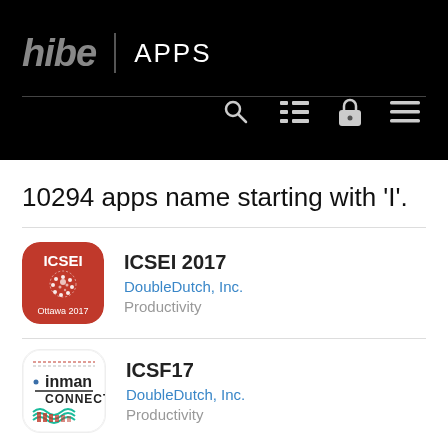hibe | APPS
10294 apps name starting with 'I'.
[Figure (logo): ICSEI 2017 app icon — red rounded square with ICSEI text and Ottawa 2017 label]
ICSEI 2017
DoubleDutch, Inc.
Productivity
[Figure (logo): ICSF17 app icon — white background with inman CONNECT logo and teal/red graphic]
ICSF17
DoubleDutch, Inc.
Productivity